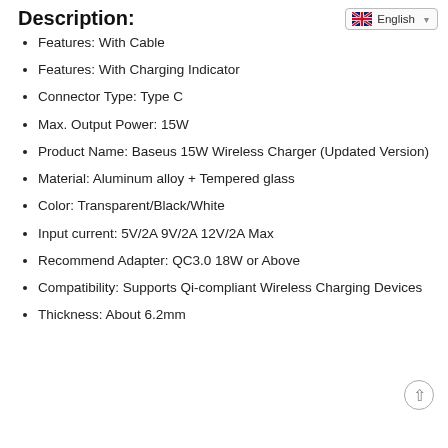Description:
Features: With Cable
Features: With Charging Indicator
Connector Type: Type C
Max. Output Power: 15W
Product Name: Baseus 15W Wireless Charger (Updated Version)
Material: Aluminum alloy + Tempered glass
Color: Transparent/Black/White
Input current: 5V/2A 9V/2A 12V/2A Max
Recommend Adapter: QC3.0 18W or Above
Compatibility: Supports Qi-compliant Wireless Charging Devices
Thickness: About 6.2mm